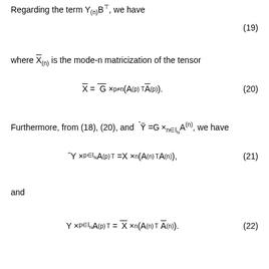Regarding the term Y(n)B^, we have
where X̃_(n) is the mode-n matricization of the tensor
Furthermore, from (18), (20), and Ŷ =G×_{n∈I_N} A^(n), we have
and